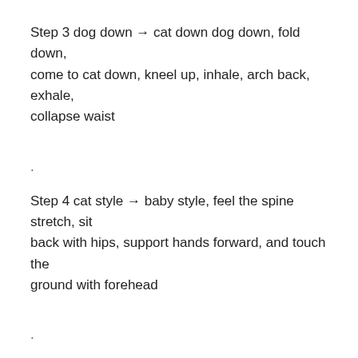Step 3 dog down → cat down dog down, fold down, come to cat down, kneel up, inhale, arch back, exhale, collapse waist
.
Step 4 cat style → baby style, feel the spine stretch, sit back with hips, support hands forward, and touch the ground with forehead
.
After that, his hands came to both sides of his thighs, palm up, shaking his head left and right
.